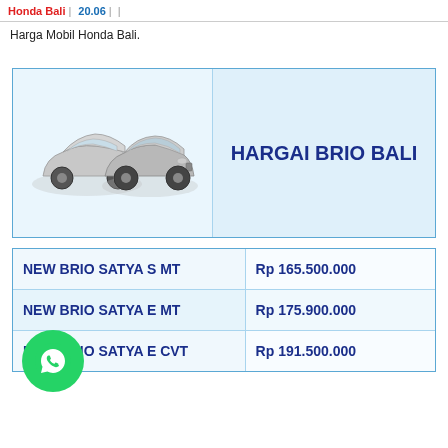Honda Bali | 20.06 |
Harga Mobil Honda Bali.
[Figure (other): Honda Brio card with image of two silver Honda Brio cars and text HARGAI BRIO BALI]
| Model | Price |
| --- | --- |
| NEW BRIO SATYA S MT | Rp 165.500.000 |
| NEW BRIO SATYA E MT | Rp 175.900.000 |
| NEW BRIO SATYA E CVT | Rp 191.500.000 |